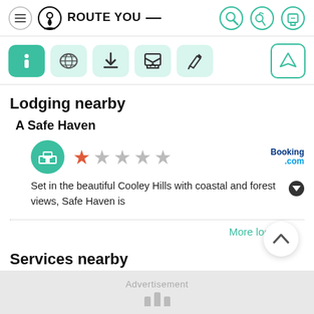RouteYou
[Figure (screenshot): Toolbar with icons: info (active/teal), globe, download, inbox, pencil, and navigation arrow on right]
Lodging nearby
A Safe Haven
[Figure (infographic): Hotel icon teal circle, 1 red star and 4 grey stars rating, Booking.com logo]
Set in the beautiful Cooley Hills with coastal and forest views, Safe Haven is
More lodging...
Services nearby
Advertisement